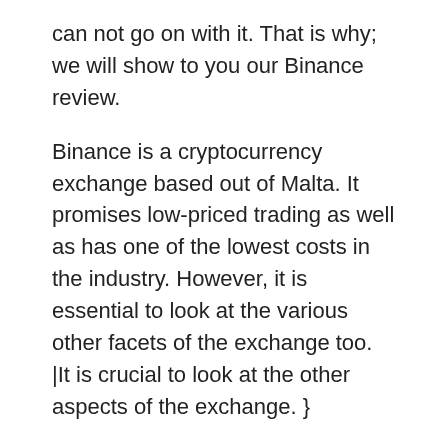can not go on with it. That is why; we will show to you our Binance review.
Binance is a cryptocurrency exchange based out of Malta. It promises low-priced trading as well as has one of the lowest costs in the industry. However, it is essential to look at the various other facets of the exchange too. |It is crucial to look at the other aspects of the exchange. }
That is what; we will discover today in our review. We will not just enter into the information of the costs yet additionally the cryptocurrency trading sets which it carries deal and also the deal time. Before we go any further, let us take a look at the benefits and